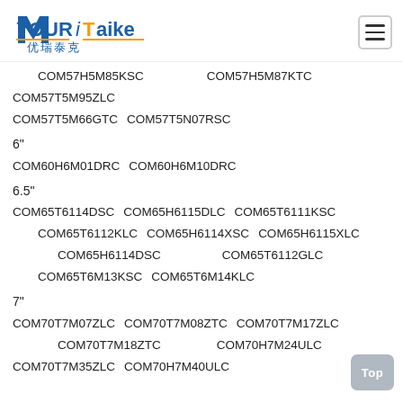[Figure (logo): YOURiTaike logo with Chinese text 优瑞泰克 and orange/blue color scheme]
COM57H5M85KSC   COM57H5M87KTC
COM57T5M95ZLC
COM57T5M66GTC   COM57T5N07RSC
6"
COM60H6M01DRC   COM60H6M10DRC
6.5"
COM65T6114DSC   COM65H6115DLC   COM65T6111KSC
COM65T6112KLC   COM65H6114XSC   COM65H6115XLC
COM65H6114DSC                    COM65T6112GLC
COM65T6M13KSC   COM65T6M14KLC
7"
COM70T7M07ZLC   COM70T7M08ZTC   COM70T7M17ZLC
COM70T7M18ZTC                    COM70H7M24ULC
COM70T7M35ZLC   COM70H7M40ULC